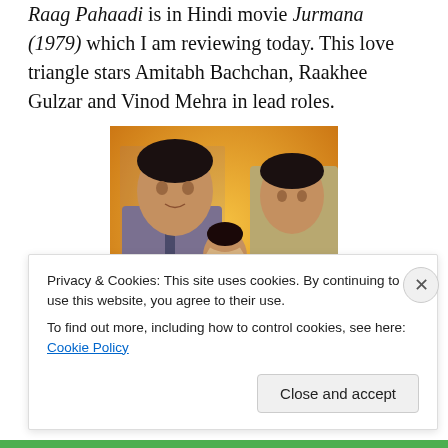Raag Pahaadi is in Hindi movie Jurmana (1979) which I am reviewing today. This love triangle stars Amitabh Bachchan, Raakhee Gulzar and Vinod Mehra in lead roles.
[Figure (photo): Movie poster for Jurmana (1979) showing Amitabh Bachchan, Raakhee Gulzar, and Vinod Mehra against an orange/yellow background with the title 'Jurmana' in red stylized text at the bottom.]
Privacy & Cookies: This site uses cookies. By continuing to use this website, you agree to their use.
To find out more, including how to control cookies, see here: Cookie Policy